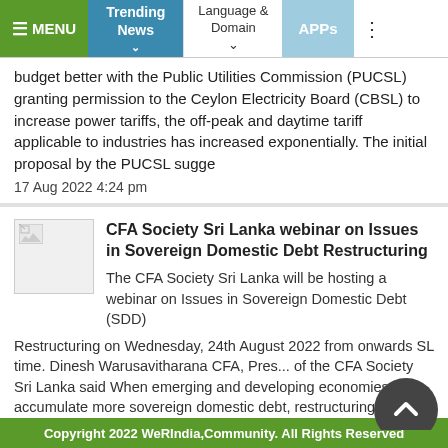≡ MENU | Trending News | Language & Domain | APPs
budget better with the Public Utilities Commission (PUCSL) granting permission to the Ceylon Electricity Board (CBSL) to increase power tariffs, the off-peak and daytime tariff applicable to industries has increased exponentially. The initial proposal by the PUCSL sugge
17 Aug 2022 4:24 pm
CFA Society Sri Lanka webinar on Issues in Sovereign Domestic Debt Restructuring
The CFA Society Sri Lanka will be hosting a webinar on Issues in Sovereign Domestic Debt (SDD) Restructuring on Wednesday, 24th August 2022 from onwards SL time. Dinesh Warusavitharana CFA, Pres... of the CFA Society Sri Lanka said When emerging and developing economies accumulate more sovereign domestic debt, restructuring SDD poses a different set of challenges compared to a restructuring of sovereign foreign debt. In such a context it is important to analyze the impact and how to rest
17 Aug 2022 3:33 pm
Singer (Sri Lanka) advances in local manufacturing to provide high quality
Copyright 2022 WeRIndia,Community. All Rights Reserved